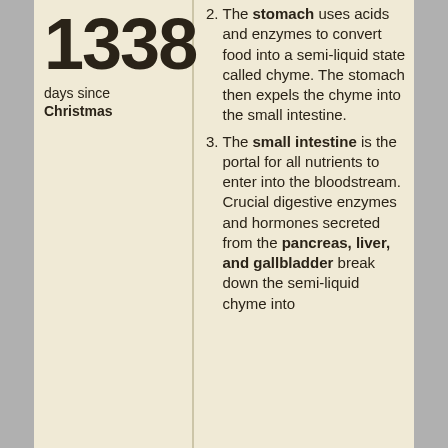1338
days since Christmas
The stomach uses acids and enzymes to convert food into a semi-liquid state called chyme. The stomach then expels the chyme into the small intestine.
The small intestine is the portal for all nutrients to enter into the bloodstream. Crucial digestive enzymes and hormones secreted from the pancreas, liver, and gallbladder break down the semi-liquid chyme into